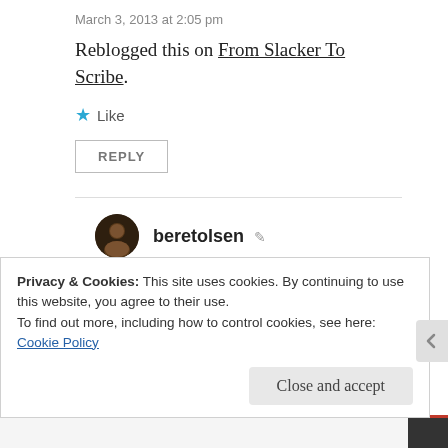March 3, 2013 at 2:05 pm
Reblogged this on From Slacker To Scribe.
★ Like
REPLY
beretolsen
March 3, 2013 at 3:13 pm
Thank you so much!
Privacy & Cookies: This site uses cookies. By continuing to use this website, you agree to their use.
To find out more, including how to control cookies, see here: Cookie Policy
Close and accept